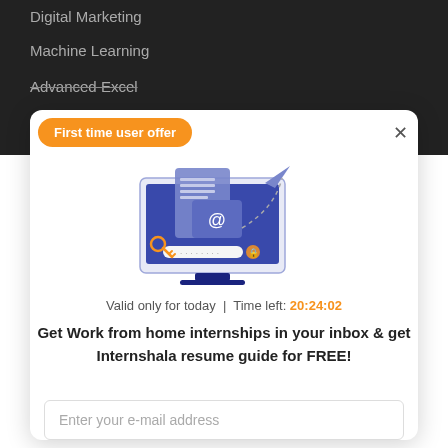Digital Marketing
Machine Learning
Advanced Excel
First time user offer
[Figure (illustration): Illustration of a computer monitor displaying an email with @ symbol, a document, a key icon, and a paper airplane flying away via a dashed arc path. Represents email/inbox concept.]
Valid only for today | Time left: 20:24:02
Get Work from home internships in your inbox & get Internshala resume guide for FREE!
Enter your e-mail address